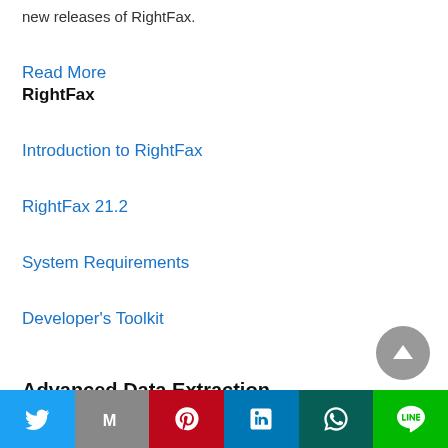new releases of RightFax.
Read More
RightFax
Introduction to RightFax
RightFax 21.2
System Requirements
Developer's Toolkit
Advanced Data Extraction
[Figure (other): Social share bar with Twitter, Gmail, Pinterest, LinkedIn, WhatsApp, and LINE buttons]